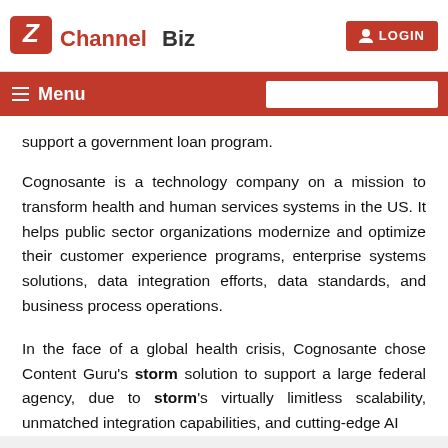ChannelBiz | LOGIN
Menu
support a government loan program.
Cognosante is a technology company on a mission to transform health and human services systems in the US. It helps public sector organizations modernize and optimize their customer experience programs, enterprise systems solutions, data integration efforts, data standards, and business process operations.
In the face of a global health crisis, Cognosante chose Content Guru's storm solution to support a large federal agency, due to storm's virtually limitless scalability, unmatched integration capabilities, and cutting-edge AI